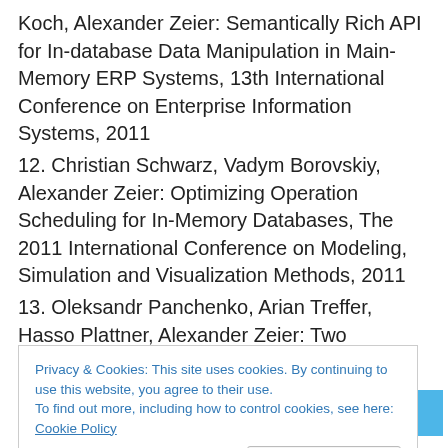Koch, Alexander Zeier: Semantically Rich API for In-database Data Manipulation in Main-Memory ERP Systems, 13th International Conference on Enterprise Information Systems, 2011
12. Christian Schwarz, Vadym Borovskiy, Alexander Zeier: Optimizing Operation Scheduling for In-Memory Databases, The 2011 International Conference on Modeling, Simulation and Visualization Methods, 2011
13. Oleksandr Panchenko, Arian Treffer, Hasso Plattner, Alexander Zeier: Two Algorithms for Locating Ancestors of a Large Set of Vertices in a Tree,
Privacy & Cookies: This site uses cookies. By continuing to use this website, you agree to their use.
To find out more, including how to control cookies, see here: Cookie Policy
Practice (SERP '11), 2011
15. Anja Bog, Kai Sachs, Alexander Zeier, Hasso